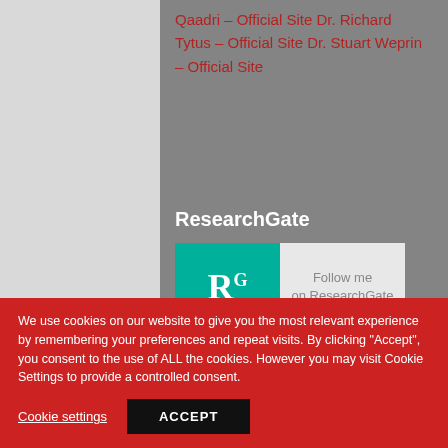Qaadri – Official Site Dr. Richard Tytus – Official Site Dr. Stuart Weprin – Official Site
ResearchGate
[Figure (logo): ResearchGate 'Follow me on ResearchGate' badge. Left half is teal/green with white RG logo, right half is light gray with text 'Follow me on ResearchGate'.]
Disclaimer
We use cookies on our website to give you the most relevant experience by remembering your preferences and repeat visits. By clicking "Accept", you consent to the use of ALL the cookies. However you may visit Cookie Settings to provide a controlled consent.
Cookie settings
ACCEPT